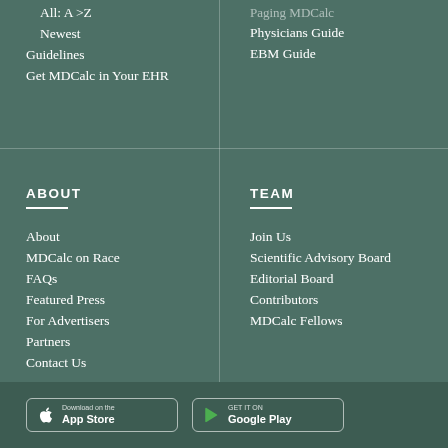All: A-Z
Newest
Guidelines
Get MDCalc in Your EHR
Paging MDCalc
Physicians Guide
EBM Guide
ABOUT
About
MDCalc on Race
FAQs
Featured Press
For Advertisers
Partners
Contact Us
TEAM
Join Us
Scientific Advisory Board
Editorial Board
Contributors
MDCalc Fellows
Download on the App Store | GET IT ON Google Play